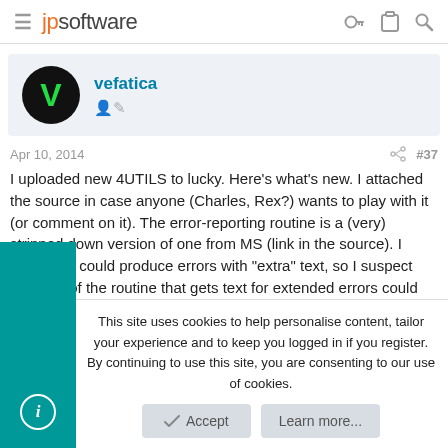jpsoftware
[Figure (other): User avatar for vefatica: black circle with green letter V]
vefatica
Apr 10, 2014  #37
I uploaded new 4UTILS to lucky. Here's what's new. I attached the source in case anyone (Charles, Rex?) wants to play with it (or comment on it). The error-reporting routine is a (very) stripped down version of one from MS (link in the source). I doubt this could produce errors with "extra" text, so I suspect that part of the routine that gets text for extended errors could
This site uses cookies to help personalise content, tailor your experience and to keep you logged in if you register.
By continuing to use this site, you are consenting to our use of cookies.